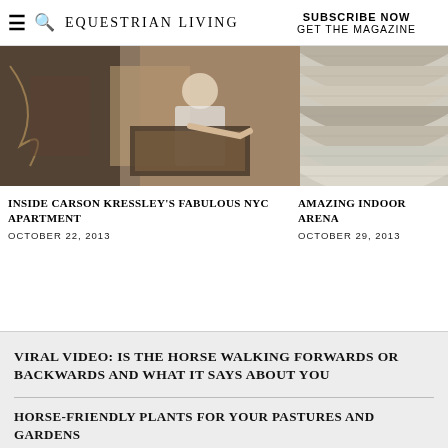≡ 🔍 EQUESTRIAN LIVING | SUBSCRIBE NOW GET THE MAGAZINE
[Figure (photo): Person signing or writing in a book/artwork in an interior setting]
[Figure (photo): Curved indoor arena wall close-up showing textured surface]
INSIDE CARSON KRESSLEY'S FABULOUS NYC APARTMENT
OCTOBER 22, 2013
AMAZING INDOOR ARENA
OCTOBER 29, 2013
VIRAL VIDEO: IS THE HORSE WALKING FORWARDS OR BACKWARDS AND WHAT IT SAYS ABOUT YOU
HORSE-FRIENDLY PLANTS FOR YOUR PASTURES AND GARDENS